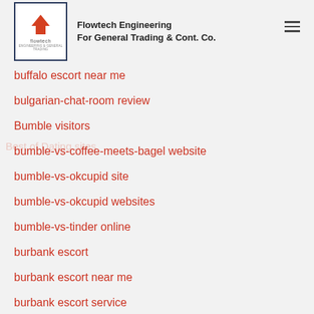Flowtech Engineering For General Trading & Cont. Co.
buffalo escort near me
bulgarian-chat-room review
Bumble visitors
bumble-vs-coffee-meets-bagel website
bumble-vs-okcupid site
bumble-vs-okcupid websites
bumble-vs-tinder online
burbank escort
burbank escort near me
burbank escort service
burbank escort services